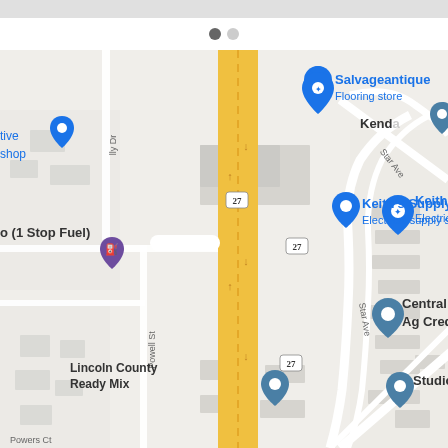[Figure (map): Google Maps screenshot showing a street map of an area in Lincoln County, Kentucky. Features Route 27 running diagonally (yellow road), with labeled businesses including Salvageantique Flooring store, Keith's Supply Electrical supply store, Central Kentucky Ag Credit, Studio Glitz, Lincoln County Ready Mix. Streets visible include Powell St, Star Ave, Powers Ct, and Tly Dr. Navigation pins in blue and teal mark the business locations.]